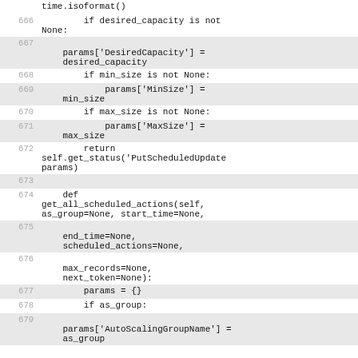time.isoformat()
666    if desired_capacity is not None:
667    params['DesiredCapacity'] = desired_capacity
668    if min_size is not None:
669    params['MinSize'] = min_size
670    if max_size is not None:
671    params['MaxSize'] = max_size
672    return self.get_status('PutScheduledUpdate params)
673
674    def get_all_scheduled_actions(self, as_group=None, start_time=None,
675    end_time=None, scheduled_actions=None,
676    max_records=None, next_token=None):
677    params = {}
678    if as_group:
679    params['AutoScalingGroupName'] = as_group